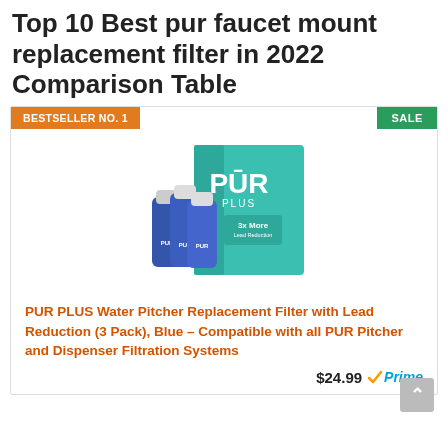Top 10 Best pur faucet mount replacement filter in 2022 Comparison Table
BESTSELLER NO. 1
SALE
[Figure (photo): PUR PLUS replacement filter box (teal/green packaging) with three blue filter cartridges in front, labeled '3x More', '3 Pack']
PUR PLUS Water Pitcher Replacement Filter with Lead Reduction (3 Pack), Blue – Compatible with all PUR Pitcher and Dispenser Filtration Systems
$24.99 Prime